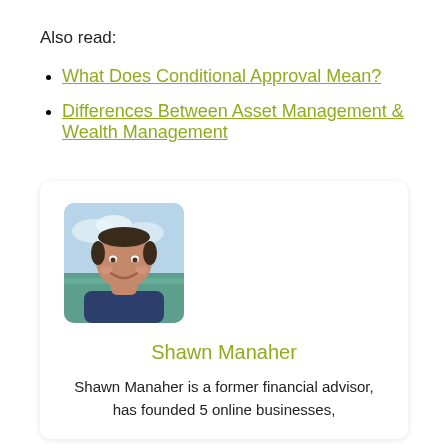Also read:
What Does Conditional Approval Mean?
Differences Between Asset Management & Wealth Management
[Figure (photo): Headshot of Shawn Manaher, a man smiling outdoors near the ocean]
Shawn Manaher
Shawn Manaher is a former financial advisor, has founded 5 online businesses,